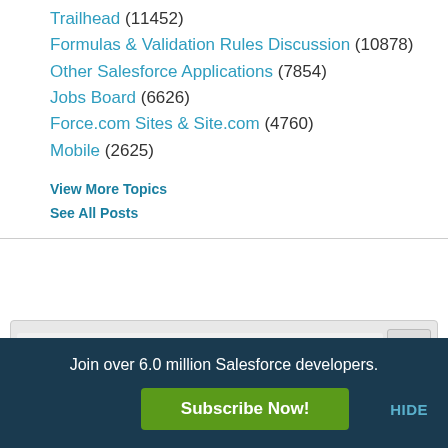Trailhead (11452)
Formulas & Validation Rules Discussion (10878)
Other Salesforce Applications (7854)
Jobs Board (6626)
Force.com Sites & Site.com (4760)
Mobile (2625)
View More Topics
See All Posts
What would you like to know?
Unsolved Questions  This Question
Join over 6.0 million Salesforce developers.
Subscribe Now!
HIDE